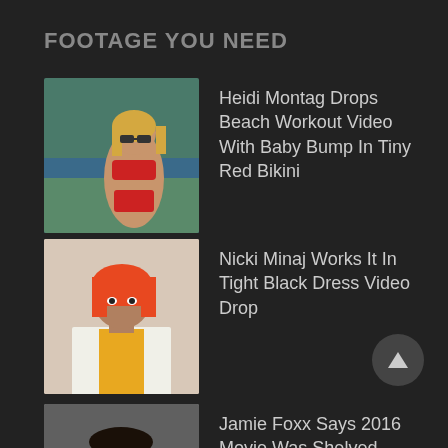FOOTAGE YOU NEED
Heidi Montag Drops Beach Workout Video With Baby Bump In Tiny Red Bikini
Nicki Minaj Works It In Tight Black Dress Video Drop
Jamie Foxx Says 2016 Movie Was Shelved Because Of Cancel Culture
Christina Ricci Hates Her